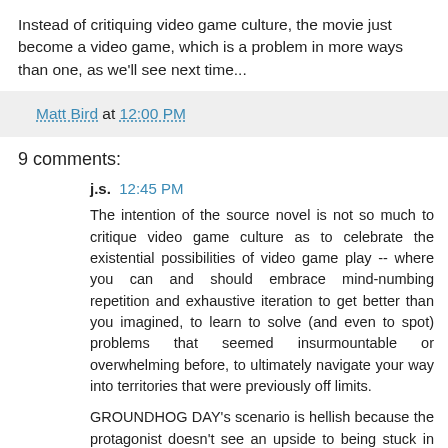Instead of critiquing video game culture, the movie just become a video game, which is a problem in more ways than one, as we'll see next time...
Matt Bird at 12:00 PM
9 comments:
j.s. 12:45 PM
The intention of the source novel is not so much to critique video game culture as to celebrate the existential possibilities of video game play -- where you can and should embrace mind-numbing repetition and exhaustive iteration to get better than you imagined, to learn to solve (and even to spot) problems that seemed insurmountable or overwhelming before, to ultimately navigate your way into territories that were previously off limits.
GROUNDHOG DAY's scenario is hellish because the protagonist doesn't see an upside to being stuck in the